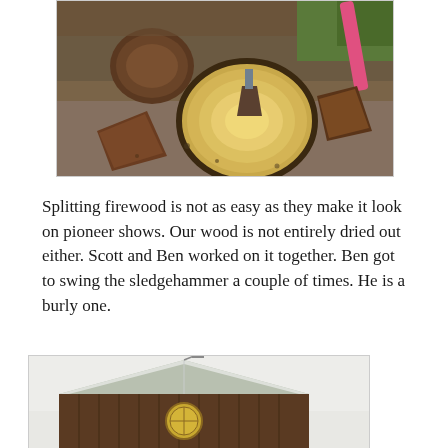[Figure (photo): Outdoor scene showing split logs and pieces of firewood on dirt ground, with a maul or axe wedge visible in a large round section of wood. A pink/red handle tool is visible in the upper right corner. Dark bark and pale yellow wood grain are visible.]
Splitting firewood is not as easy as they make it look on pioneer shows. Our wood is not entirely dried out either. Scott and Ben worked on it together. Ben got to swing the sledgehammer a couple of times. He is a burly one.
[Figure (photo): A rustic wooden barn with a metal roof dusted with snow, set against a pale overcast sky. A round decorative element (quilt square or sign) is visible on the front of the barn.]